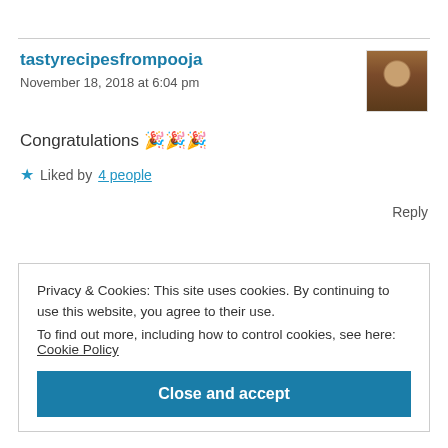tastyrecipesfrompooja
November 18, 2018 at 6:04 pm
Congratulations 🎉🎉🎉
★ Liked by 4 people
Reply
Privacy & Cookies: This site uses cookies. By continuing to use this website, you agree to their use.
To find out more, including how to control cookies, see here: Cookie Policy
Close and accept